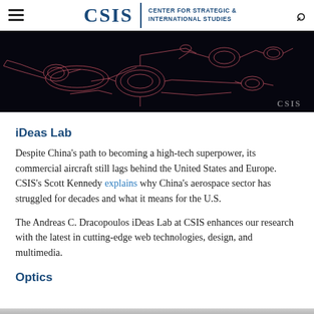CSIS | CENTER FOR STRATEGIC & INTERNATIONAL STUDIES
[Figure (photo): Dark background technical/engineering blueprint-style rendering of mechanical components (robotic arm or aircraft parts) outlined in pink/red wireframe lines on a near-black background. CSIS watermark in bottom right.]
iDeas Lab
Despite China's path to becoming a high-tech superpower, its commercial aircraft still lags behind the United States and Europe. CSIS's Scott Kennedy explains why China's aerospace sector has struggled for decades and what it means for the U.S.
The Andreas C. Dracopoulos iDeas Lab at CSIS enhances our research with the latest in cutting-edge web technologies, design, and multimedia.
Optics